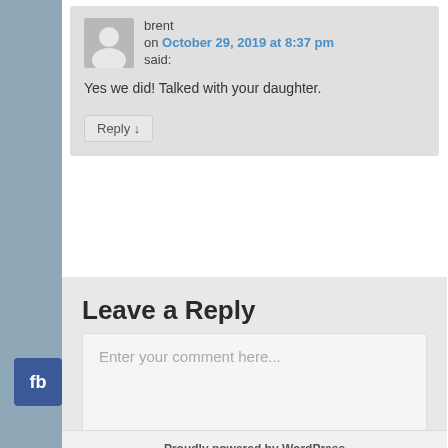brent
on October 29, 2019 at 8:37 pm
said:

Yes we did! Talked with your daughter.

Reply
Leave a Reply
Enter your comment here...
Proudly powered by WordPress